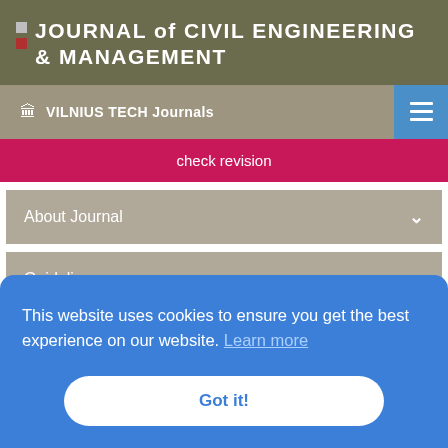JOURNAL of CIVIL ENGINEERING & MANAGEMENT
VILNIUS TECH Journals
check revision
About Journal
Guidelines
2021
This website uses cookies to ensure you get the best experience on our website. Learn more
Got it!